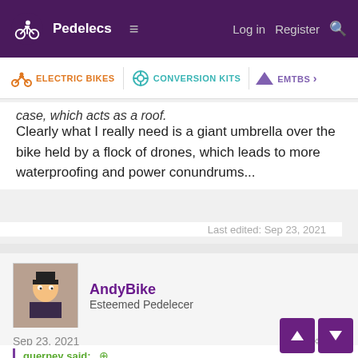Pedelecs | Log in | Register
ELECTRIC BIKES | CONVERSION KITS | EMTBS
case, which acts as a roof.
Clearly what I really need is a giant umbrella over the bike held by a flock of drones, which leads to more waterproofing and power conundrums...
Last edited: Sep 23, 2021
AndyBike
Esteemed Pedelecer
Sep 23, 2021  #7
guerney said: